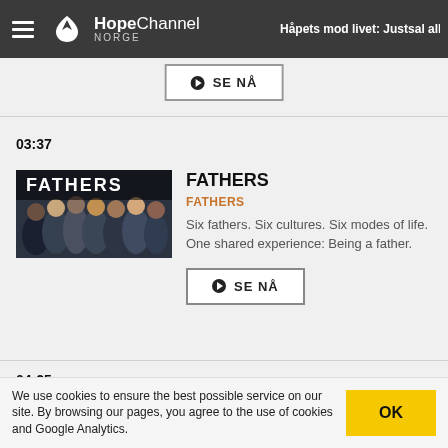HopeChannel NORGE
03:37
[Figure (photo): Thumbnail image for FATHERS documentary showing group of men, with FATHERS text overlay]
FATHERS
FATHERS
Six fathers. Six cultures. Six modes of life. One shared experience: Being a father.
SE NÅ
04:25
We use cookies to ensure the best possible service on our site. By browsing our pages, you agree to the use of cookies and Google Analytics.
OK